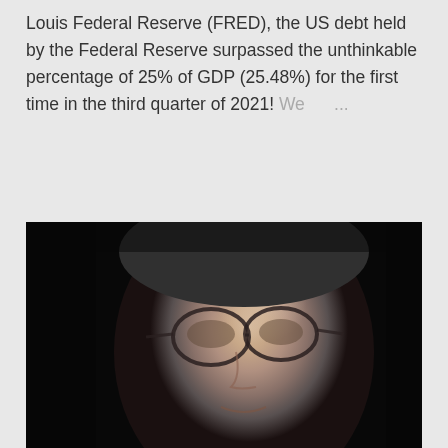Louis Federal Reserve (FRED), the US debt held by the Federal Reserve surpassed the unthinkable percentage of 25% of GDP (25.48%) for the first time in the third quarter of 2021! We ...
SHARE   POST A COMMENT   READ MORE
[Figure (photo): Black and white close-up photograph of an elderly man with gray hair wearing glasses, slightly smiling, against a dark background]